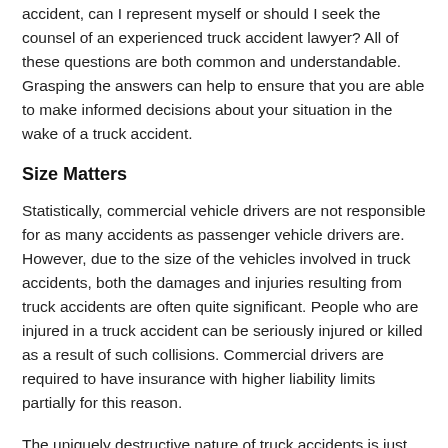accident, can I represent myself or should I seek the counsel of an experienced truck accident lawyer? All of these questions are both common and understandable. Grasping the answers can help to ensure that you are able to make informed decisions about your situation in the wake of a truck accident.
Size Matters
Statistically, commercial vehicle drivers are not responsible for as many accidents as passenger vehicle drivers are. However, due to the size of the vehicles involved in truck accidents, both the damages and injuries resulting from truck accidents are often quite significant. People who are injured in a truck accident can be seriously injured or killed as a result of such collisions. Commercial drivers are required to have insurance with higher liability limits partially for this reason.
The uniquely destructive nature of truck accidents is just one reason why accident victims may benefit from filing a legal claim